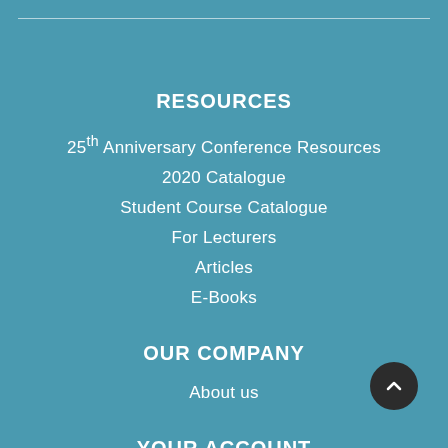RESOURCES
25th Anniversary Conference Resources
2020 Catalogue
Student Course Catalogue
For Lecturers
Articles
E-Books
OUR COMPANY
About us
YOUR ACCOUNT